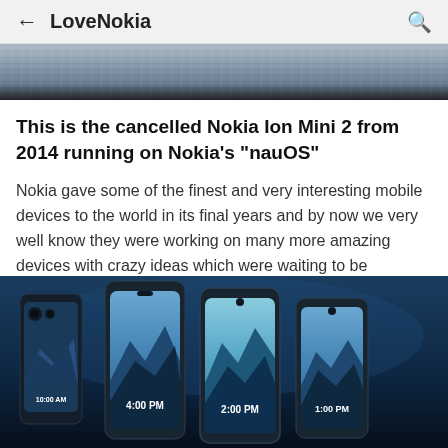← LoveNokia 🔍
[Figure (photo): Top portion of a Nokia device, close-up showing the back of a smartphone against a textured dark background.]
This is the cancelled Nokia Ion Mini 2 from 2014 running on Nokia's "nauOS"
Nokia gave some of the finest and very interesting mobile devices to the world in its final years and by now we very well know they were working on many more amazing devices with crazy ideas which were waiting to be launched but never mad...
[Figure (photo): Multiple Nokia smartphones arranged in a group on a dark blue background, each showing a different time on the screen (10:00 AM, 4:00 PM, 2:00 PM, 1:00 PM) with scenic wallpapers.]